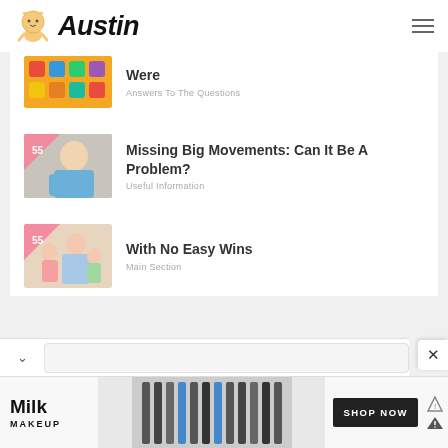Austin
Were
Answers To The Questions
Missing Big Movements: Can It Be A Problem?
Useful Information
With No Easy Wins
Main Section
[Figure (screenshot): Advertisement for Milk Makeup with product image and SHOP NOW button]